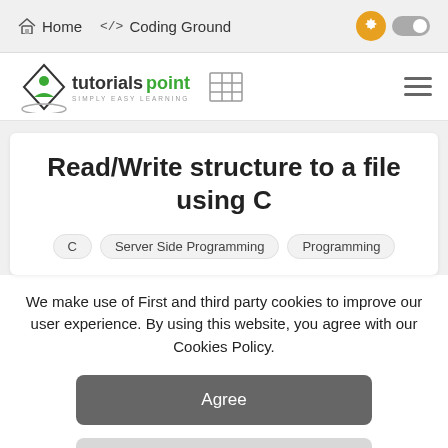Home  </> Coding Ground
[Figure (logo): Tutorialspoint logo with diamond shape and 'SIMPLY EASY LEARNING' tagline, plus table grid icon and hamburger menu icon]
Read/Write structure to a file using C
C
Server Side Programming
Programming
We make use of First and third party cookies to improve our user experience. By using this website, you agree with our Cookies Policy.
Agree
Learn more